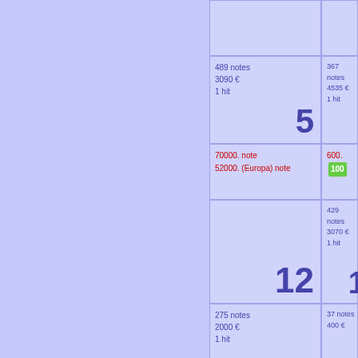|  |  |
| 489 notes 3090 € 1 hit | 5 | 367 notes 4535 € 1 hit |
| 70000. note 52000. (Europa) note |  | 600. [100] |
| | 12 | 429 notes 3070 € 1 hit |
| 275 notes 2000 € 1 hit | 19 | 37 notes 400 € |
| 1 hit | 26 | 65 notes 500 € |